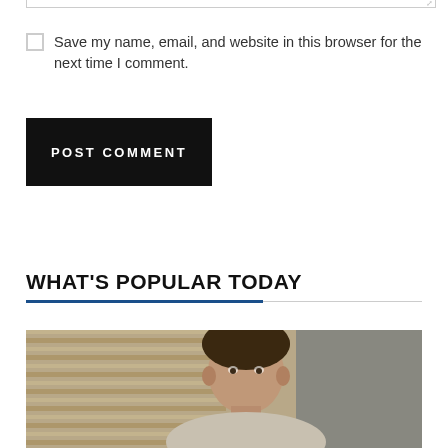Save my name, email, and website in this browser for the next time I comment.
POST COMMENT
WHAT'S POPULAR TODAY
[Figure (photo): Photo of a man with dark hair, shot from the shoulders up, in front of a background with horizontal slats/blinds.]